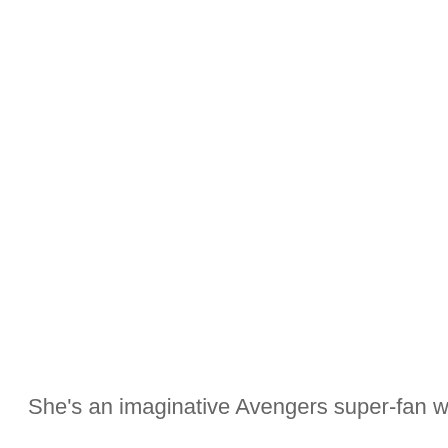She's an imaginative Avengers super-fan whose ✕